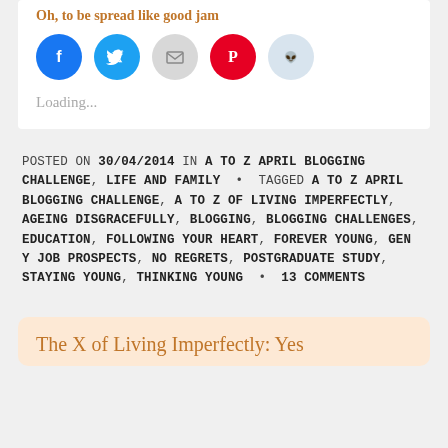Oh, to be spread like good jam
[Figure (infographic): Row of five social media share icon circles: Facebook (blue), Twitter (cyan), Email (grey), Pinterest (red), Reddit (light blue)]
Loading...
POSTED ON 30/04/2014 IN A TO Z APRIL BLOGGING CHALLENGE, LIFE AND FAMILY • TAGGED A TO Z APRIL BLOGGING CHALLENGE, A TO Z OF LIVING IMPERFECTLY, AGEING DISGRACEFULLY, BLOGGING, BLOGGING CHALLENGES, EDUCATION, FOLLOWING YOUR HEART, FOREVER YOUNG, GEN Y JOB PROSPECTS, NO REGRETS, POSTGRADUATE STUDY, STAYING YOUNG, THINKING YOUNG • 13 COMMENTS
The X of Living Imperfectly: Yes